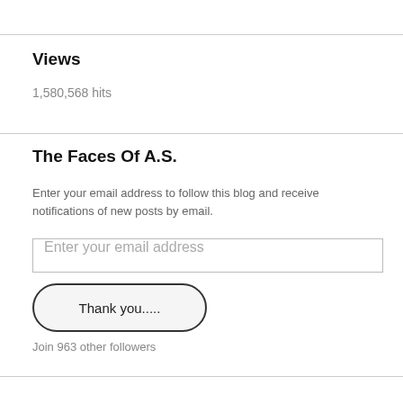Views
1,580,568 hits
The Faces Of A.S.
Enter your email address to follow this blog and receive notifications of new posts by email.
Enter your email address
Thank you.....
Join 963 other followers